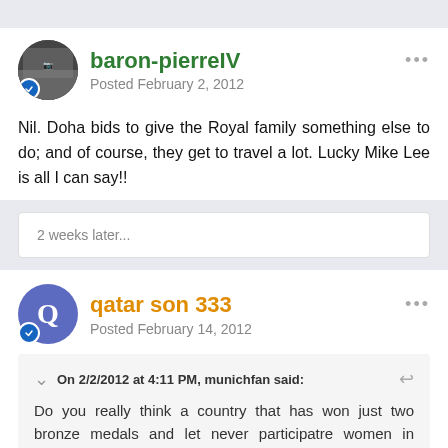baron-pierreIV
Posted February 2, 2012
Nil. Doha bids to give the Royal family something else to do; and of course, they get to travel a lot. Lucky Mike Lee is all I can say!!
2 weeks later...
qatar son 333
Posted February 14, 2012
On 2/2/2012 at 4:11 PM, munichfan said:
Do you really think a country that has won just two bronze medals and let never participatre women in sports deserves to host it? And another point speaking against